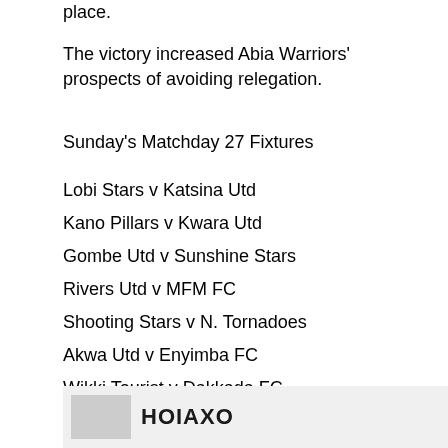place.
The victory increased Abia Warriors' prospects of avoiding relegation.
Sunday's Matchday 27 Fixtures
Lobi Stars v Katsina Utd
Kano Pillars v Kwara Utd
Gombe Utd v Sunshine Stars
Rivers Utd v MFM FC
Shooting Stars v N. Tornadoes
Akwa Utd v Enyimba FC
Wikki Tourist v Dakkada FC
Nasarawa Utd v Plateau Utd
[Figure (logo): Footer logo with gray rectangle and bold text 'HOIAXO']